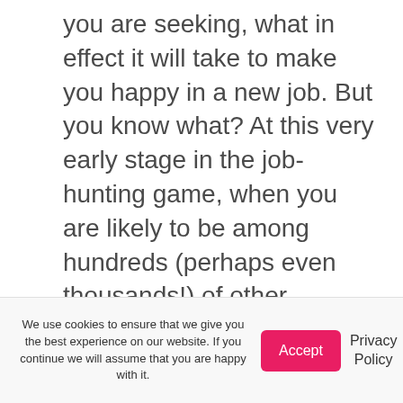you are seeking, what in effect it will take to make you happy in a new job. But you know what? At this very early stage in the job-hunting game, when you are likely to be among hundreds (perhaps even thousands!) of other candidates simply throwing their hats in the ring, the last thing a hiring professional is usually considering at this point is what will make you happy!
If you actually become the
We use cookies to ensure that we give you the best experience on our website. If you continue we will assume that you are happy with it.
Accept
Privacy Policy